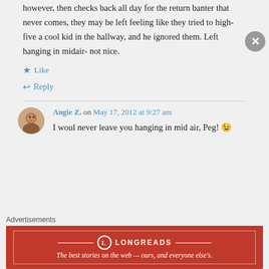however, then checks back all day for the return banter that never comes, they may be left feeling like they tried to high-five a cool kid in the hallway, and he ignored them. Left hanging in midair- not nice.
★ Like
↳ Reply
Angie Z. on May 17, 2012 at 9:27 am
I woul never leave you hanging in mid air, Peg! 😉
Advertisements
[Figure (logo): Longreads advertisement banner: red background with logo and tagline 'The best stories on the web — ours, and everyone else's.']